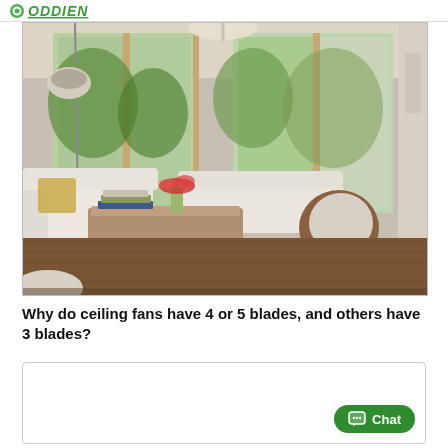ODDIEN
[Figure (photo): Modern living room with white sofas, coffee table with books, vase of red flowers, a modern egg-shaped chair, wooden floor, and floor-to-ceiling windows overlooking lush green garden]
Why do ceiling fans have 4 or 5 blades, and others have 3 blades?